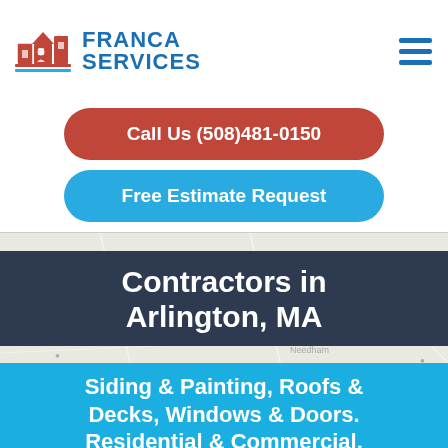[Figure (logo): Franca Services logo: red building/house icon on the left, blue text reading FRANCA SERVICES on the right]
[Figure (other): Hamburger menu icon (three horizontal blue lines) on the top right]
Call Us (508)481-0150
Free Estimate Request
[Figure (map): Light grey map of Massachusetts showing Boston area towns and roads]
Contractors in Arlington, MA
Siding & Painting, Roofs & Decks, Windows & Doors. Residential & Commercial,